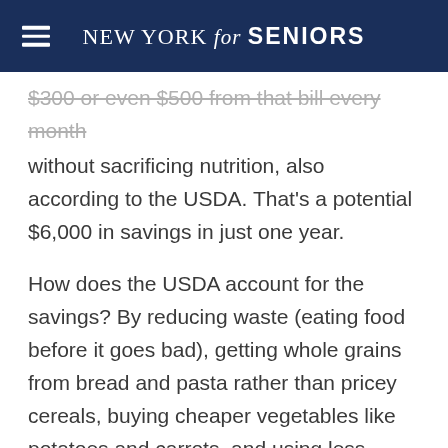NEW YORK for SENIORS
$300 or even $500 from that bill every month without sacrificing nutrition, also according to the USDA. That's a potential $6,000 in savings in just one year.
How does the USDA account for the savings? By reducing waste (eating food before it goes bad), getting whole grains from bread and pasta rather than pricey cereals, buying cheaper vegetables like potatoes and carrots, and using less expensive meats (chicken as opposed to pork or veal) and other forms of protein, for starters. Whether you save thousands of dollars using these tips, the message is still the same: